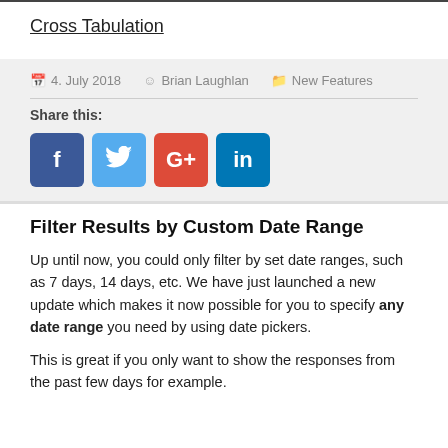Cross Tabulation
4. July 2018   Brian Laughlan   New Features
Share this:
[Figure (illustration): Social media share buttons: Facebook (blue), Twitter (light blue), Google+ (orange-red), LinkedIn (teal)]
Filter Results by Custom Date Range
Up until now, you could only filter by set date ranges, such as 7 days, 14 days, etc. We have just launched a new update which makes it now possible for you to specify any date range you need by using date pickers.
This is great if you only want to show the responses from the past few days for example.